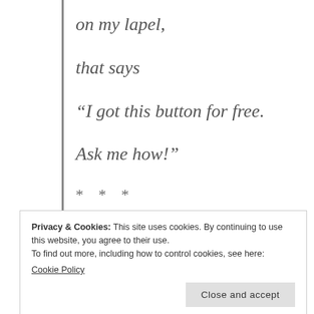on my lapel,
that says
“I got this button for free.
Ask me how!”
* * *
Privacy & Cookies: This site uses cookies. By continuing to use this website, you agree to their use.
To find out more, including how to control cookies, see here:
Cookie Policy
Close and accept